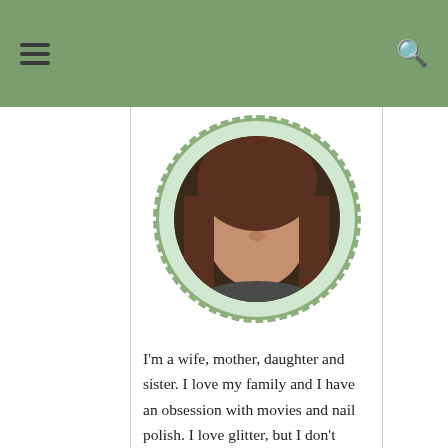[Figure (photo): Circular profile photo of a woman with long brown hair, framed by a scalloped mint/light green decorative border, on a white background.]
I'm a wife, mother, daughter and sister. I love my family and I have an obsession with movies and nail polish. I love glitter, but I don't discriminate against any polish. You can find something to do with every color! I'm working on teaching myself more about make up and hair care and love trying new products! If you wish to contact me to try and review products or if you just have questions please email me at nakedwithoutpolish@gmail.com.